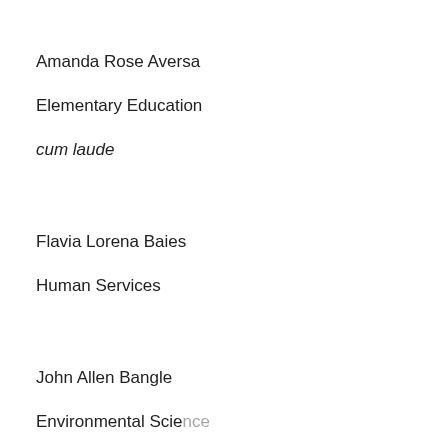Amanda Rose Aversa
Elementary Education
cum laude
Flavia Lorena Baies
Human Services
John Allen Bangle
Environmental Science